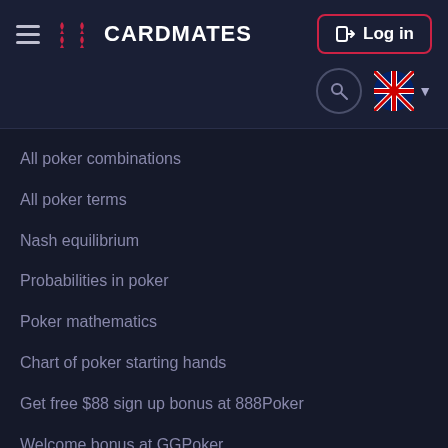CARDMATES — Log in header with navigation menu and language selector
All poker combinations
All poker terms
Nash equilibrium
Probabilities in poker
Poker mathematics
Chart of poker starting hands
Get free $88 sign up bonus at 888Poker
Welcome bonus at GGPoker
$30 free New Bonus at Partypoker
Information
About us
Contacts
Privacy policy
Terms and conditions